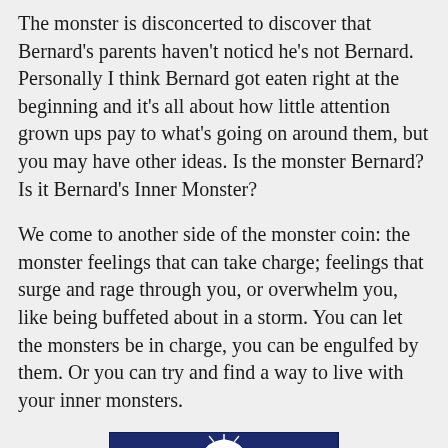The monster is disconcerted to discover that Bernard's parents haven't noticd he's not Bernard. Personally I think Bernard got eaten right at the beginning and it's all about how little attention grown ups pay to what's going on around them, but you may have other ideas. Is the monster Bernard? Is it Bernard's Inner Monster?
We come to another side of the monster coin: the monster feelings that can take charge; feelings that surge and rage through you, or overwhelm you, like being buffeted about in a storm. You can let the monsters be in charge, you can be engulfed by them. Or you can try and find a way to live with your inner monsters.
[Figure (illustration): Book cover with dark navy blue background featuring ornate white decorative monster/dragon eye motif and partial text reading 'NIGHT' at the bottom]